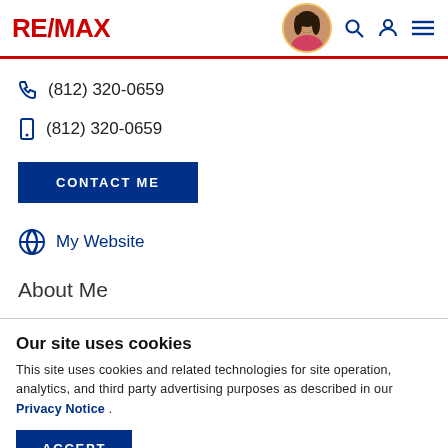RE/MAX header with logo, agent photo, search, account, and menu icons
(812) 320-0659 (phone)
(812) 320-0659 (mobile)
CONTACT ME
My Website
About Me
Our site uses cookies
This site uses cookies and related technologies for site operation, analytics, and third party advertising purposes as described in our Privacy Notice .
ACCEPT